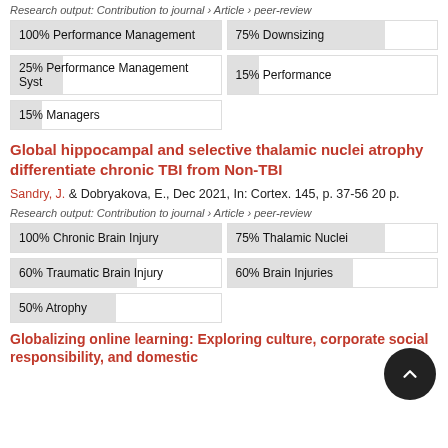Research output: Contribution to journal › Article › peer-review
[Figure (infographic): Keyword badges with percentage fill bars: 100% Performance Management, 75% Downsizing, 25% Performance Management Syst, 15% Performance, 15% Managers]
Global hippocampal and selective thalamic nuclei atrophy differentiate chronic TBI from Non-TBI
Sandry, J. & Dobryakova, E., Dec 2021, In: Cortex. 145, p. 37-56 20 p.
Research output: Contribution to journal › Article › peer-review
[Figure (infographic): Keyword badges with percentage fill bars: 100% Chronic Brain Injury, 75% Thalamic Nuclei, 60% Traumatic Brain Injury, 60% Brain Injuries, 50% Atrophy]
Globalizing online learning: Exploring culture, corporate social responsibility, and domestic